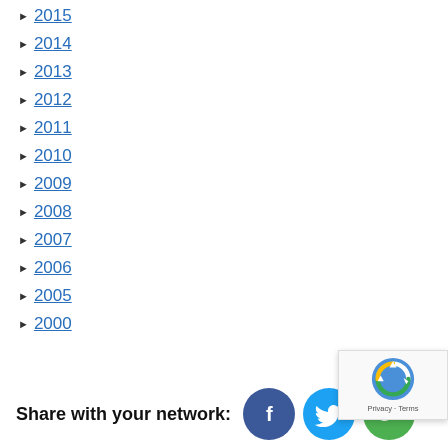► 2015
► 2014
► 2013
► 2012
► 2011
► 2010
► 2009
► 2008
► 2007
► 2006
► 2005
► 2000
Share with your network: